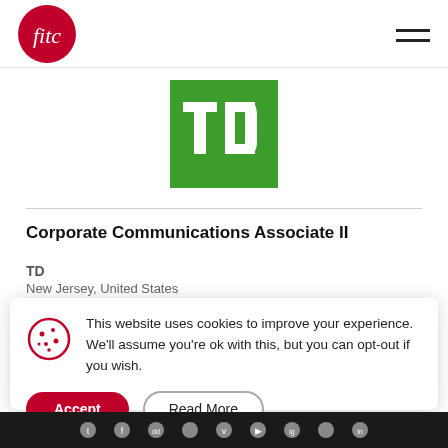fitc logo and navigation menu
[Figure (logo): TD Bank green square logo with white TD letters]
Corporate Communications Associate II
TD
New Jersey, United States
This website uses cookies to improve your experience. We'll assume you're ok with this, but you can opt-out if you wish.
Social media icon bar